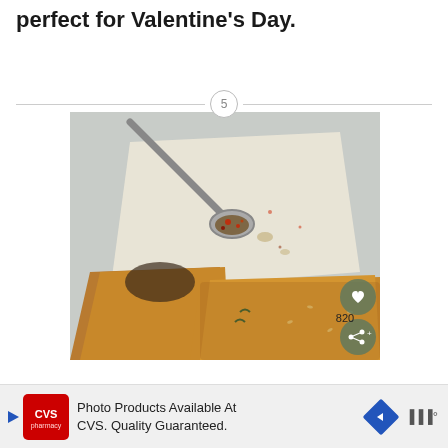perfect for Valentine's Day.
[Figure (photo): Food photo showing a spoon with red pepper flakes and oil over parchment paper, with pieces of golden-brown baked pastry/pizza below, on a gray stone surface. Heart icon and share icon are overlaid on the right side with count 820.]
Photo Products Available At CVS. Quality Guaranteed.